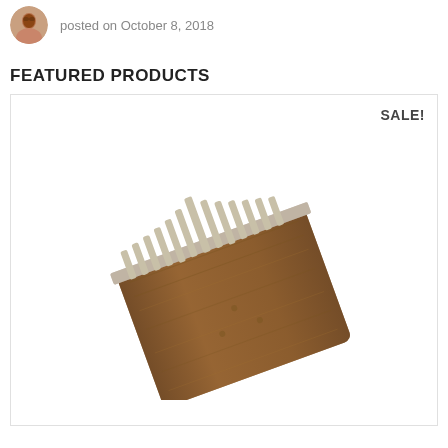[Figure (photo): Small circular avatar photo of a woman with reddish-brown hair]
posted on October 8, 2018
FEATURED PRODUCTS
[Figure (photo): A wooden kalimba (thumb piano) with metal tines, angled view on white background, with a SALE! badge in top right corner]